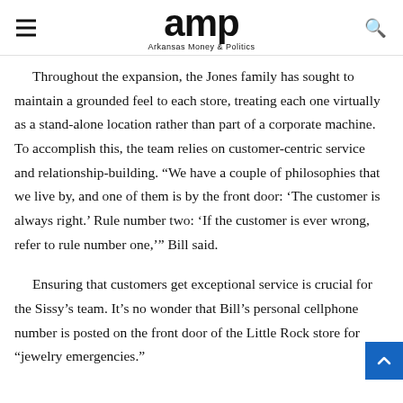amp — Arkansas Money & Politics
Throughout the expansion, the Jones family has sought to maintain a grounded feel to each store, treating each one virtually as a stand-alone location rather than part of a corporate machine. To accomplish this, the team relies on customer-centric service and relationship-building. “We have a couple of philosophies that we live by, and one of them is by the front door: ‘The customer is always right.’ Rule number two: ‘If the customer is ever wrong, refer to rule number one,’” Bill said.
Ensuring that customers get exceptional service is crucial for the Sissy’s team. It’s no wonder that Bill’s personal cellphone number is posted on the front door of the Little Rock store for “jewelry emergencies.”